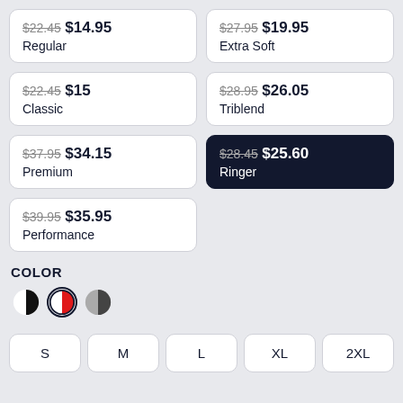$22.45 $14.95 Regular
$27.95 $19.95 Extra Soft
$22.45 $15 Classic
$28.95 $26.05 Triblend
$37.95 $34.15 Premium
$28.45 $25.60 Ringer (selected)
$39.95 $35.95 Performance
COLOR
[Figure (infographic): Three circular color swatches: black/white split, red/white split with ring border, dark-gray/light-gray split]
S
M
L
XL
2XL